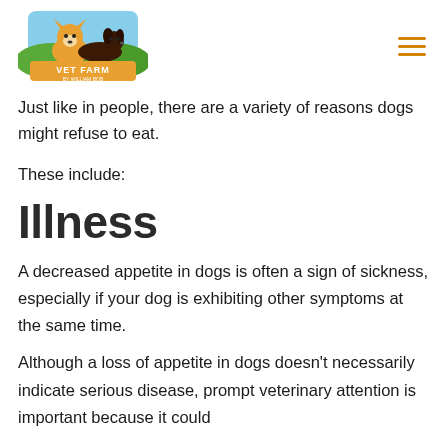[Figure (logo): Vet Farm by William Bob logo featuring cartoon corgi and dachshund dogs with colorful background]
Just like in people, there are a variety of reasons dogs might refuse to eat.
These include:
Illness
A decreased appetite in dogs is often a sign of sickness, especially if your dog is exhibiting other symptoms at the same time.
Although a loss of appetite in dogs doesn't necessarily indicate serious disease, prompt veterinary attention is important because it could